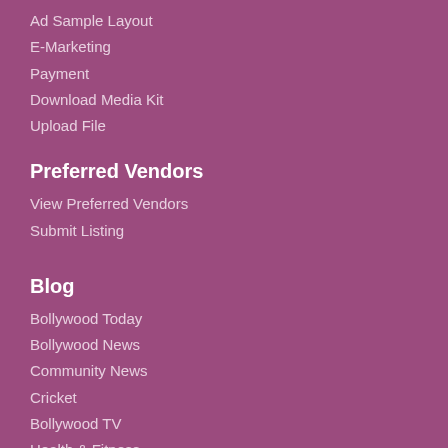Ad Sample Layout
E-Marketing
Payment
Download Media Kit
Upload File
Preferred Vendors
View Preferred Vendors
Submit Listing
Blog
Bollywood Today
Bollywood News
Community News
Cricket
Bollywood TV
Health & Fitness
Incredible Indians
India News
NRI News